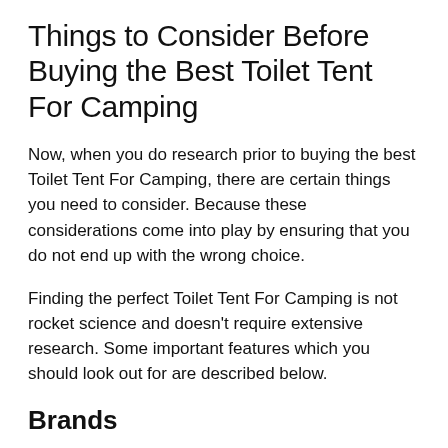Things to Consider Before Buying the Best Toilet Tent For Camping
Now, when you do research prior to buying the best Toilet Tent For Camping, there are certain things you need to consider. Because these considerations come into play by ensuring that you do not end up with the wrong choice.
Finding the perfect Toilet Tent For Camping is not rocket science and doesn’t require extensive research. Some important features which you should look out for are described below.
Brands